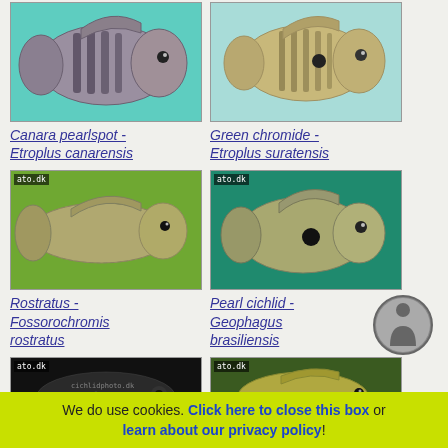[Figure (photo): Canara pearlspot fish (Etroplus canarensis) on teal background]
Canara pearlspot - Etroplus canarensis
[Figure (photo): Green chromide fish (Etroplus suratensis) on light teal background]
Green chromide - Etroplus suratensis
[Figure (photo): Rostratus fish (Fossorochromis rostratus) on green background]
Rostratus - Fossorochromis rostratus
[Figure (photo): Pearl cichlid fish (Geophagus brasiliensis) on dark teal background]
Pearl cichlid - Geophagus brasiliensis
[Figure (photo): Close-up fish photo on dark background, partially visible]
[Figure (photo): Fish on dark aquatic background, partially visible]
We do use cookies. Click here to close this box or learn about our privacy policy!